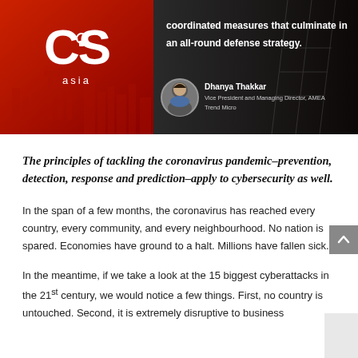[Figure (infographic): Banner image with CS Asia logo on red background left side showing Singapore skyline, and dark right side with quote text and photo of Dhanya Thakkar, Vice President and Managing Director, AMEA, Trend Micro]
coordinated measures that culminate in an all-round defense strategy.
Dhanya Thakkar
Vice President and Managing Director, AMEA
Trend Micro
The principles of tackling the coronavirus pandemic–prevention, detection, response and prediction–apply to cybersecurity as well.
In the span of a few months, the coronavirus has reached every country, every community, and every neighbourhood. No nation is spared. Economies have ground to a halt. Millions have fallen sick.
In the meantime, if we take a look at the 15 biggest cyberattacks in the 21st century, we would notice a few things. First, no country is untouched. Second, it is extremely disruptive to business